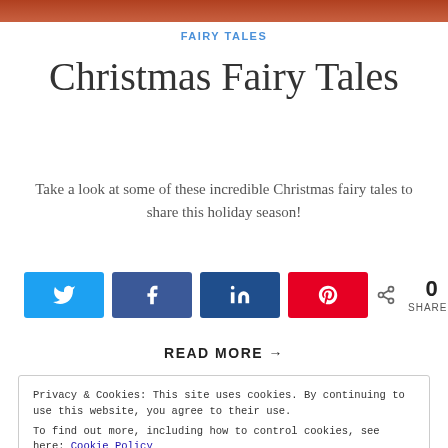[Figure (photo): Top partial image strip, warm toned photo]
FAIRY TALES
Christmas Fairy Tales
Take a look at some of these incredible Christmas fairy tales to share this holiday season!
[Figure (infographic): Social share buttons: Twitter, Facebook, LinkedIn, Pinterest, and share count showing 0 SHARES]
READ MORE →
Privacy & Cookies: This site uses cookies. By continuing to use this website, you agree to their use.
To find out more, including how to control cookies, see here: Cookie Policy
Close and accept